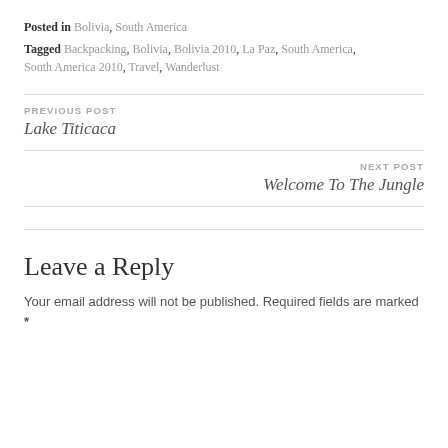Posted in Bolivia, South America
Tagged Backpacking, Bolivia, Bolivia 2010, La Paz, South America, South America 2010, Travel, Wanderlust
PREVIOUS POST
Lake Titicaca
NEXT POST
Welcome To The Jungle
Leave a Reply
Your email address will not be published. Required fields are marked *